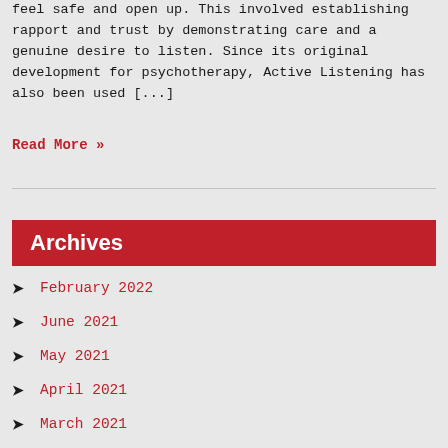feel safe and open up. This involved establishing rapport and trust by demonstrating care and a genuine desire to listen. Since its original development for psychotherapy, Active Listening has also been used [...]
Read More »
Archives
February 2022
June 2021
May 2021
April 2021
March 2021